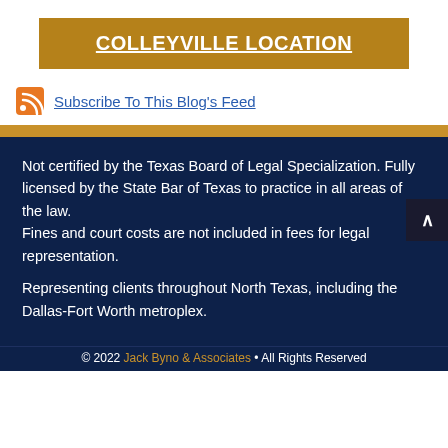COLLEYVILLE LOCATION
Subscribe To This Blog's Feed
Not certified by the Texas Board of Legal Specialization. Fully licensed by the State Bar of Texas to practice in all areas of the law.
Fines and court costs are not included in fees for legal representation.
Representing clients throughout North Texas, including the Dallas-Fort Worth metroplex.
© 2022 Jack Byno & Associates • All Rights Reserved